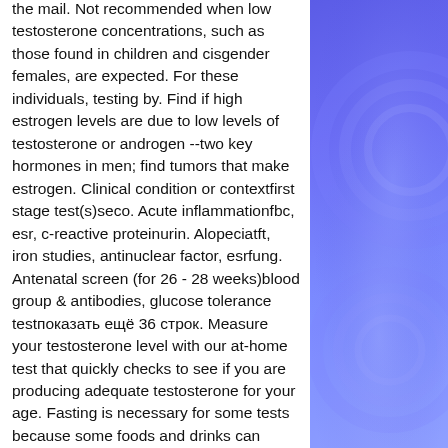the mail. Not recommended when low testosterone concentrations, such as those found in children and cisgender females, are expected. For these individuals, testing by. Find if high estrogen levels are due to low levels of testosterone or androgen --two key hormones in men; find tumors that make estrogen. Clinical condition or contextfirst stage test(s)seco. Acute inflammationfbc, esr, c-reactive proteinurin. Alopeciatft, iron studies, antinuclear factor, esrfung. Antenatal screen (for 26 - 28 weeks)blood group &amp; antibodies, glucose tolerance testпоказать ещё 36 строк. Measure your testosterone level with our at-home test that quickly checks to see if you are producing adequate testosterone for your age. Fasting is necessary for some tests because some foods and drinks can affect your results. Your doctor will let you know if you'll need to fast prior to being. The testosterone test may be used, along with tests for other hormone